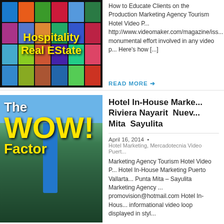[Figure (photo): Image of a video wall with many TV screens showing various content, overlaid with yellow bold text 'Hospitality Real Estate']
How to Educate Clients on the Production Marketing Agency Tourism Hotel Video P... http://www.videomaker.com/magazine/iss... monumental effort involved in any video p... Here's how [...]
READ MORE
[Figure (photo): Aerial photo of a beach resort with a pool, palm trees and ocean. Text overlay: 'The WOW! Factor' in yellow and white bold fonts.]
Hotel In-House Marketing Riviera Nayarit  Nuevo Vallarta  Punta Mita  Sayulita
April 16, 2014  •
Hotel Marketing, Mercadotecnia Video Puerto...
Marketing Agency Tourism Hotel Video P... Hotel In-House Marketing Puerto Vallarta... Punta Mita – Sayulita Marketing Agency ... promovision@hotmail.com Hotel In-Hous... informational video loop displayed in styl...
READ MORE